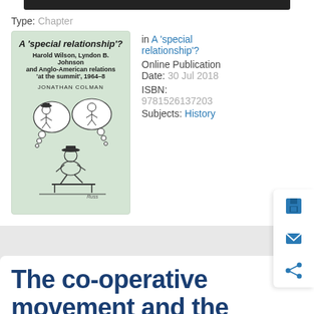Type: Chapter
[Figure (illustration): Book cover of 'A special relationship?' by Jonathan Colman, featuring a cartoon illustration of figures with thought bubbles, on a pale green background]
in A 'special relationship'?
Online Publication Date: 30 Jul 2018
ISBN: 9781526137203
Subjects: History
The co-operative movement and the War of